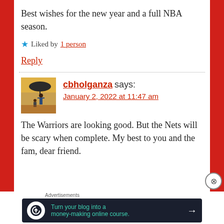Best wishes for the new year and a full NBA season.
★ Liked by 1 person
Reply
cbholganza says: January 2, 2022 at 11:47 am
The Warriors are looking good. But the Nets will be scary when complete. My best to you and the fam, dear friend.
Advertisements Turn your blog into a money-making online course. →